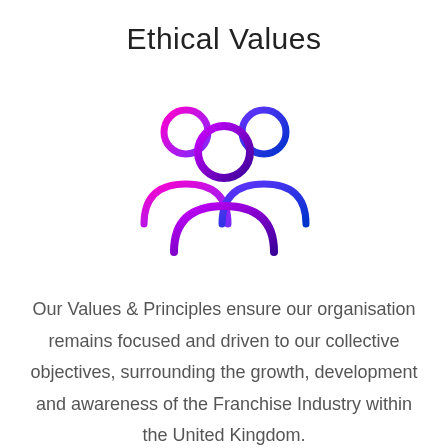Ethical Values
[Figure (illustration): Three stylized person/group icons arranged with a larger central figure in purple gradient, a left figure in pink-magenta gradient, and a right figure in blue gradient, representing a group of people.]
Our Values & Principles ensure our organisation remains focused and driven to our collective objectives, surrounding the growth, development and awareness of the Franchise Industry within the United Kingdom.